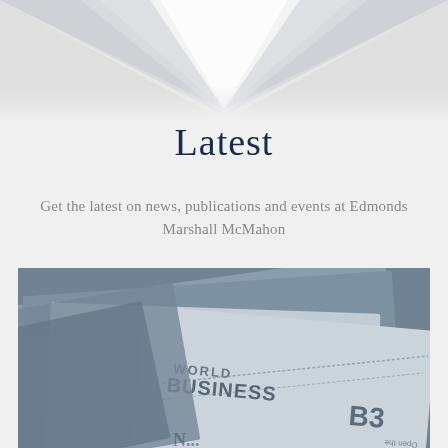[Figure (illustration): Abstract geometric light-ray background at top of page in light grey tones]
Latest
Get the latest on news, publications and events at Edmonds Marshall McMahon
[Figure (photo): Close-up photo of stacked newspapers/magazines in a rack, showing pages with text including 'WORLD BUSINESS' and 'B3', in blue-grey tones]